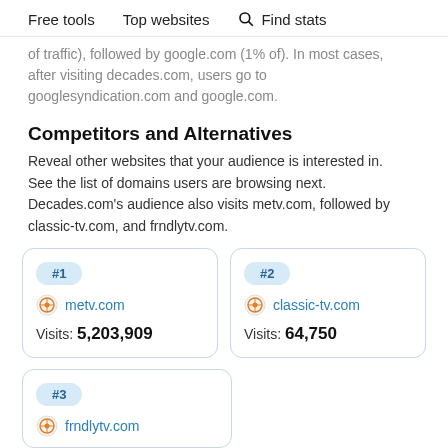Free tools   Top websites   Find stats
of traffic), followed by google.com (1% of). In most cases, after visiting decades.com, users go to googlesyndication.com and google.com.
Competitors and Alternatives
Reveal other websites that your audience is interested in. See the list of domains users are browsing next. Decades.com's audience also visits metv.com, followed by classic-tv.com, and frndlytv.com.
#1 metv.com Visits: 5,203,909
#2 classic-tv.com Visits: 64,750
#3 frndlytv.com